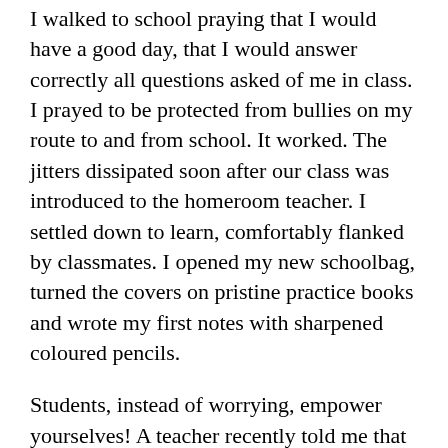I walked to school praying that I would have a good day, that I would answer correctly all questions asked of me in class. I prayed to be protected from bullies on my route to and from school. It worked. The jitters dissipated soon after our class was introduced to the homeroom teacher. I settled down to learn, comfortably flanked by classmates. I opened my new schoolbag, turned the covers on pristine practice books and wrote my first notes with sharpened coloured pencils.
Students, instead of worrying, empower yourselves! A teacher recently told me that kids should start the year with fresh school supplies. They should pick an item from each class every day and jot it down in a special notebook, and talk to their teacher about doing assignments that interest them.